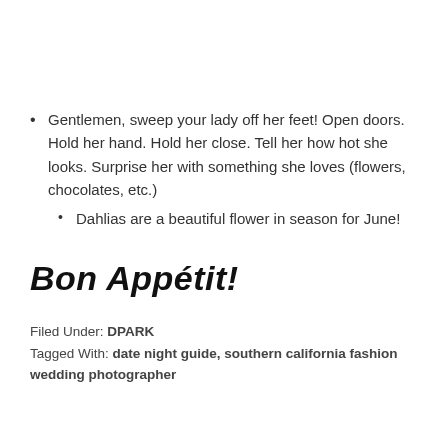Gentlemen, sweep your lady off her feet!  Open doors.  Hold her hand.  Hold her close.  Tell her how hot she looks.  Surprise her with something she loves (flowers, chocolates, etc.)
Dahlias are a beautiful flower in season for June!
Bon Appétit!
Filed Under: DPARK
Tagged With: date night guide, southern california fashion wedding photographer